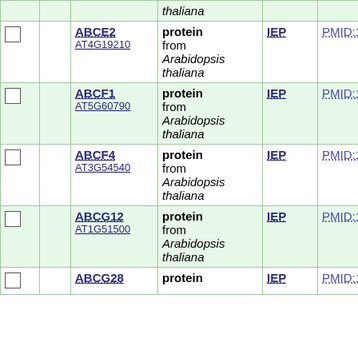|  |  | Gene | Description | Evidence | Reference |
| --- | --- | --- | --- | --- | --- |
|  |  | thaliana (partial, top row) |  |  |  |
| ☐ |  | ABCE2
AT4G19210 | protein from Arabidopsis thaliana | IEP | PMID:18775970 |
| ☐ |  | ABCF1
AT5G60790 | protein from Arabidopsis thaliana | IEP | PMID:18775970 |
| ☐ |  | ABCF4
AT3G54540 | protein from Arabidopsis thaliana | IEP | PMID:18775970 |
| ☐ |  | ABCG12
AT1G51500 | protein from Arabidopsis thaliana | IEP | PMID:18775970 |
| ☐ |  | ABCG28 | protein | IEP | PMID:18775970 |